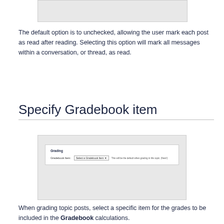[Figure (screenshot): Screenshot of a settings form showing a grading panel (top, partial).]
The default option is to unchecked, allowing the user mark each post as read after reading. Selecting this option will mark all messages within a conversation, or thread, as read.
Specify Gradebook item
[Figure (screenshot): Screenshot of Gradebook item selection interface showing a 'Grading' section with a 'Gradebook Item:' field and a 'Select a Gradebook Item' dropdown with hint text: 'This will be the default when grading in this topic. (Next!)']
When grading topic posts, select a specific item for the grades to be included in the Gradebook calculations.